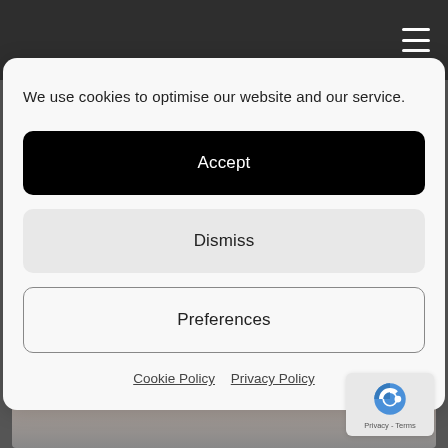[Figure (screenshot): Dark navigation bar with hamburger menu icon (three white horizontal lines) on the right side]
We use cookies to optimise our website and our service.
Accept
Dismiss
Preferences
Cookie Policy   Privacy Policy
[Figure (photo): Partial photo of a person's face with eyes closed, lying down]
[Figure (logo): reCAPTCHA badge with Privacy - Terms text]